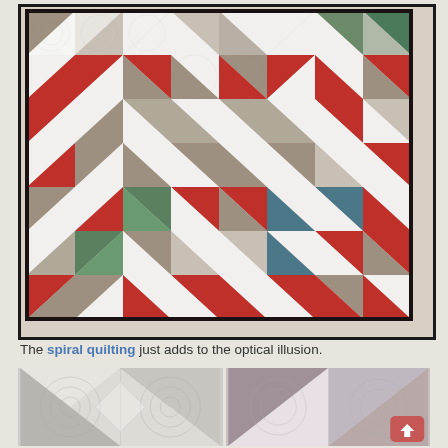[Figure (photo): A geometric patchwork quilt with triangular and diamond patterns in white, red/rust, taupe/gray, green, teal, and dark colors creating an optical illusion effect, photographed on a tan/brown floor.]
The spiral quilting just adds to the optical illusion.
[Figure (photo): Two close-up photos of the quilt showing the spiral quilting detail. Left image shows light-colored triangles with white/gray tones. Right image shows triangles in mauve/purple and gray tones. An upload button icon is visible in the bottom-right corner of the right image.]